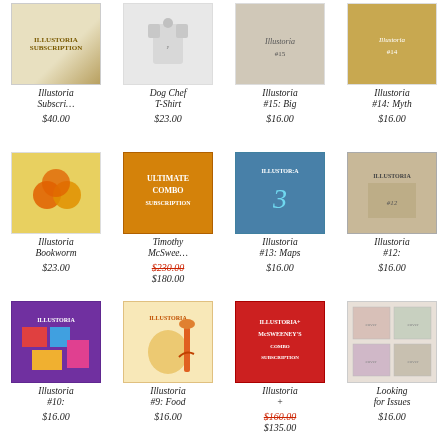[Figure (photo): Illustoria Subscription product image]
Illustoria Subscri…
$40.00
[Figure (photo): Dog Chef T-Shirt product image]
Dog Chef T-Shirt
$23.00
[Figure (photo): Illustoria #15: Big product image]
Illustoria #15: Big
$16.00
[Figure (photo): Illustoria #14: Myth product image]
Illustoria #14: Myth
$16.00
[Figure (photo): Illustoria Bookworm product image]
Illustoria Bookworm
$23.00
[Figure (photo): Timothy McSwee… Ultimate Combo Subscription product image]
Timothy McSwee…
$230.00 $180.00
[Figure (photo): Illustoria #13: Maps product image]
Illustoria #13: Maps
$16.00
[Figure (photo): Illustoria #12 product image]
Illustoria #12:
$16.00
[Figure (photo): Illustoria #10 product image]
Illustoria #10:
$16.00
[Figure (photo): Illustoria #9: Food product image]
Illustoria #9: Food
$16.00
[Figure (photo): Illustoria + McSweeney's combo subscription product image]
Illustoria +
$160.00 $135.00
[Figure (photo): Looking for Issues product image]
Looking for Issues
$16.00